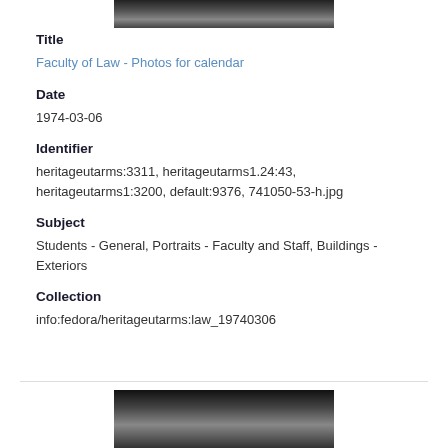[Figure (photo): Black and white partial photo of a person at the top of the page]
Title
Faculty of Law - Photos for calendar
Date
1974-03-06
Identifier
heritageutarms:3311, heritageutarms1.24:43, heritageutarms1:3200, default:9376, 741050-53-h.jpg
Subject
Students - General, Portraits - Faculty and Staff, Buildings - Exteriors
Collection
info:fedora/heritageutarms:law_19740306
[Figure (photo): Black and white partial photo at the bottom of the page]